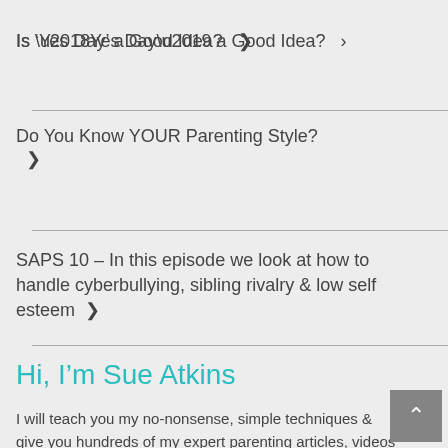Is ‘Yes Day’ a Good Idea?  >
Do You Know YOUR Parenting Style?  >
SAPS 10 – In this episode we look at how to handle cyberbullying, sibling rivalry & low self esteem  >
Hi, I’m Sue Atkins
I will teach you my no-nonsense, simple techniques & give you hundreds of my expert parenting articles, videos & podcasts